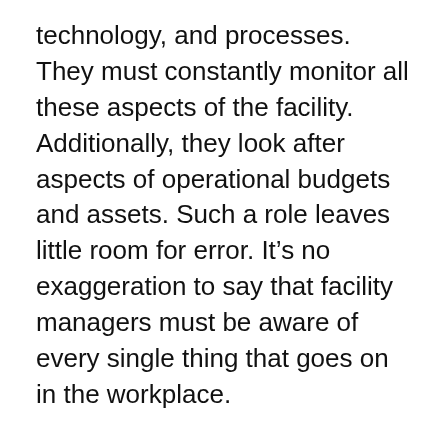technology, and processes. They must constantly monitor all these aspects of the facility. Additionally, they look after aspects of operational budgets and assets. Such a role leaves little room for error. It’s no exaggeration to say that facility managers must be aware of every single thing that goes on in the workplace.
In the wider enterprise, certain roles cannot be executed remotely. Those who need to collaborate with others or use specialized machinery cannot work remotely. Individuals who provide support, other essential services, have to be on location. Certain functions in certain industries are bound by regulations and compliance needs to work on-location. In such situations, the onus is on the facility manager to make the workspace safe and